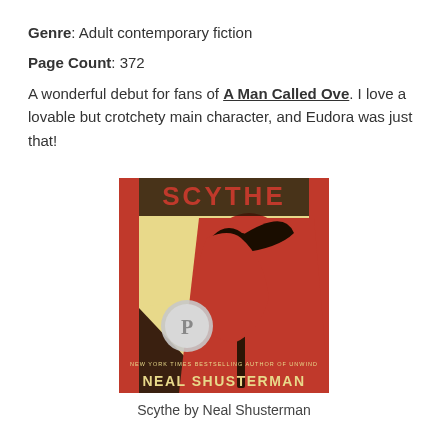Genre: Adult contemporary fiction
Page Count: 372
A wonderful debut for fans of A Man Called Ove. I love a lovable but crotchety main character, and Eudora was just that!
[Figure (illustration): Book cover of Scythe by Neal Shusterman. Red-cloaked figure holding a scythe staff against a yellow/cream background. Text reads 'SCYTHE', 'NEW YORK TIMES BESTSELLING AUTHOR OF UNWIND', 'NEAL SHUSTERMAN'. Silver Printz Honor medal on lower left.]
Scythe by Neal Shusterman